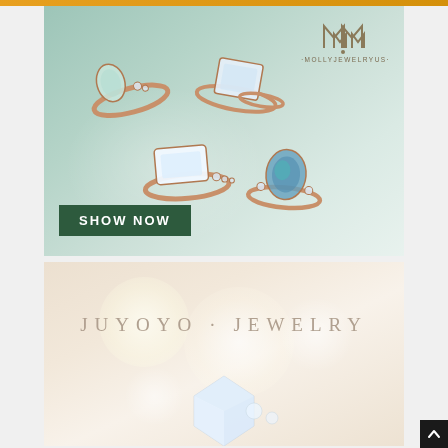[Figure (photo): MollyJewelryUS advertisement showing four rose gold rings with gemstones on a soft teal/green background. Rings include an opal teardrop ring, a white crystal square ring, an emerald cut clear stone ring, and an alexandrite oval stone ring. A 'SHOW NOW' button appears in the lower left on a dark green background. The MollyJewelryUS logo and stylized M icon appear in the upper right.]
[Figure (photo): JUYOYO JEWELRY advertisement on a warm beige/cream background with bokeh light effects. The brand name 'JUYOYO · JEWELRY' is displayed in spaced serif letters. The bottom portion shows the start of a jewelry image.]